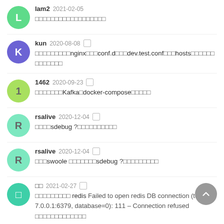lam2  2021-02-05  [redacted message]
kun  2020-08-08  [redacted]nginx[redacted]conf.d[redacted]dev.test.conf[redacted]hosts[redacted]
1462  2020-09-23  [redacted]Kafka[redacted]docker-compose[redacted]
rsalive  2020-12-04  [redacted]sdebug ?[redacted]
rsalive  2020-12-04  [redacted]swoole [redacted]sdebug ?[redacted]
[redacted]  2021-02-27  [redacted] redis Failed to open redis DB connection (tcp://127.0.0.1:6379, database=0): 111 – Connection refused  [redacted]